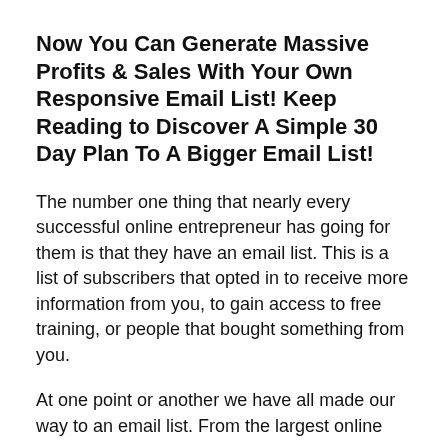Now You Can Generate Massive Profits & Sales With Your Own Responsive Email List! Keep Reading to Discover A Simple 30 Day Plan To A Bigger Email List!
The number one thing that nearly every successful online entrepreneur has going for them is that they have an email list. This is a list of subscribers that opted in to receive more information from you, to gain access to free training, or people that bought something from you.
At one point or another we have all made our way to an email list. From the largest online